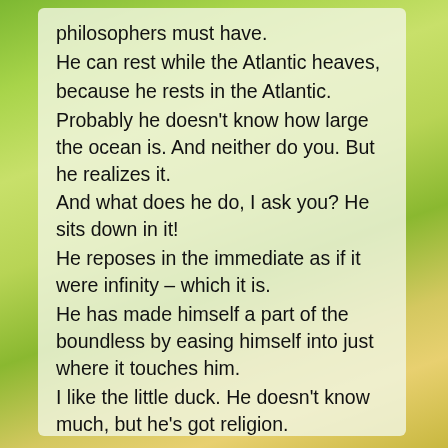philosophers must have. He can rest while the Atlantic heaves, because he rests in the Atlantic. Probably he doesn't know how large the ocean is. And neither do you. But he realizes it. And what does he do, I ask you? He sits down in it! He reposes in the immediate as if it were infinity – which it is. He has made himself a part of the boundless by easing himself into just where it touches him. I like the little duck. He doesn't know much, but he's got religion.